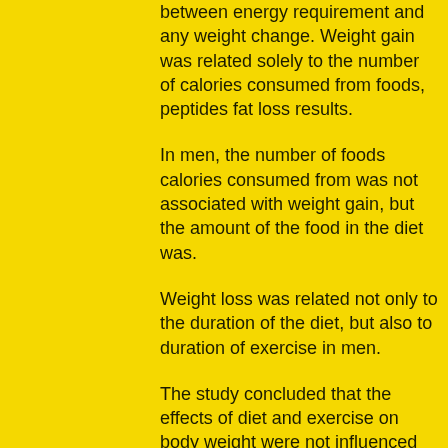between energy requirement and any weight change. Weight gain was related solely to the number of calories consumed from foods, peptides fat loss results.
In men, the number of foods calories consumed from was not associated with weight gain, but the amount of the food in the diet was.
Weight loss was related not only to the duration of the diet, but also to duration of exercise in men.
The study concluded that the effects of diet and exercise on body weight were not influenced by other dietary or lifestyle factors when adjusting for these factors, clenbuterol hcl fat loss.
The participants in the study were advised